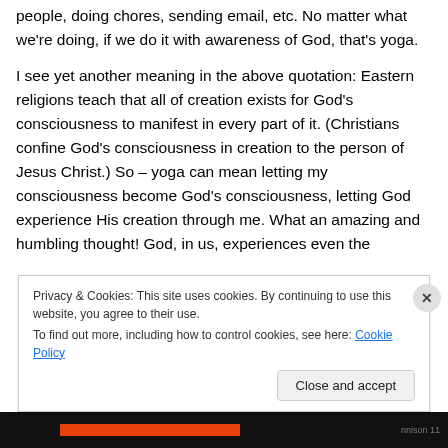people, doing chores, sending email, etc. No matter what we're doing, if we do it with awareness of God, that's yoga.

I see yet another meaning in the above quotation: Eastern religions teach that all of creation exists for God's consciousness to manifest in every part of it. (Christians confine God's consciousness in creation to the person of Jesus Christ.) So – yoga can mean letting my consciousness become God's consciousness, letting God experience His creation through me. What an amazing and humbling thought! God, in us, experiences even the
Privacy & Cookies: This site uses cookies. By continuing to use this website, you agree to their use.
To find out more, including how to control cookies, see here: Cookie Policy